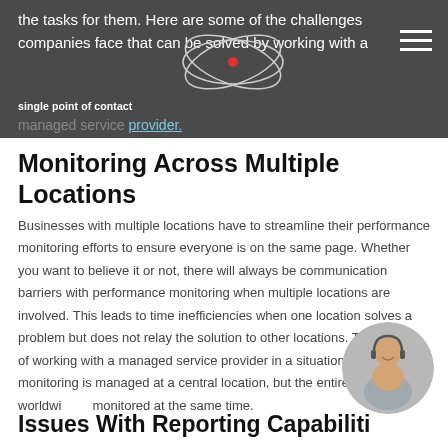the tasks for them. Here are some of the challenges companies face that can be solved by working with a single point of contact managed service provider.
Monitoring Across Multiple Locations
Businesses with multiple locations have to streamline their performance monitoring efforts to ensure everyone is on the same page. Whether you want to believe it or not, there will always be communication barriers with performance monitoring when multiple locations are involved. This leads to time inefficiencies when one location solves a problem but does not relay the solution to other locations. The benefit of working with a managed service provider in a situation like this is the monitoring is managed at a central location, but the entire organization worldwide is monitored at the same time.
[Figure (photo): Circular photo of a smiling woman wearing a headset, appearing to be a customer service representative]
Issues With Reporting Capabilities